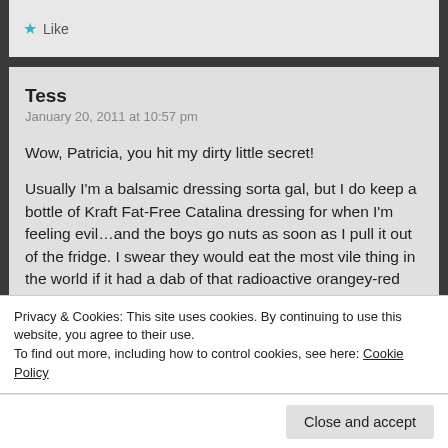[Figure (screenshot): Partial comment UI showing a Like button with a teal star icon]
Tess
January 20, 2011 at 10:57 pm

Wow, Patricia, you hit my dirty little secret!

Usually I'm a balsamic dressing sorta gal, but I do keep a bottle of Kraft Fat-Free Catalina dressing for when I'm feeling evil…and the boys go nuts as soon as I pull it out of the fridge. I swear they would eat the most vile thing in the world if it had a dab of that radioactive orangey-red goop on it!
Privacy & Cookies: This site uses cookies. By continuing to use this website, you agree to their use.
To find out more, including how to control cookies, see here: Cookie Policy
Close and accept